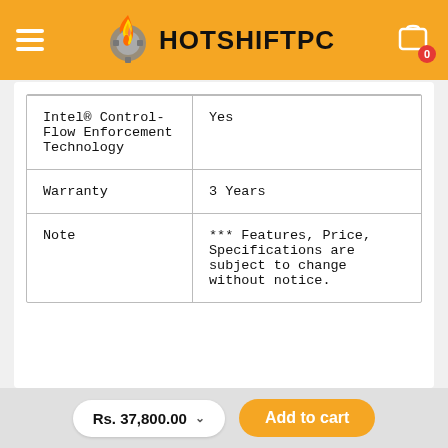HOTSHIFTPC
| Feature | Value |
| --- | --- |
| Intel® Control-Flow Enforcement Technology | Yes |
| Warranty | 3 Years |
| Note | *** Features, Price, Specifications are subject to change without notice. |
Rs. 37,800.00  Add to cart